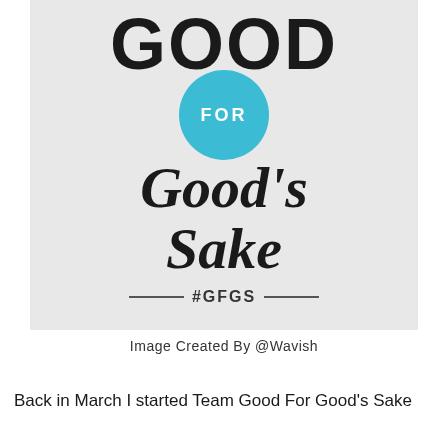[Figure (logo): Good For Good's Sake logo on grey background. Large bold black 'GOOD' text at top, blue circle with white 'FOR' text in center, cursive script 'Good's Sake' below, and '#GFGS' hashtag with decorative lines at bottom.]
Image Created By @Wavish
Back in March I started Team Good For Good's Sake